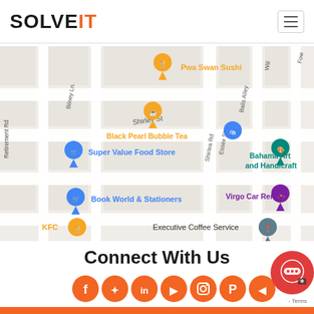SOLVEIT
[Figure (map): Google Maps screenshot showing streets including Shirley St, Bilney Ln, Retirement Rd, Balls Alley, Essex St, Shirlea Rd. Points of interest labeled: Pwa Swan Sushi, Black Pearl Bubble Tea, Super Value Food Store, Bahama Art and Handicraft, Virgo Car Rental, Book World & Stationers, KFC, Executive Coffee Service.]
Connect With Us
[Figure (infographic): Row of orange circular social media icons: Facebook, Twitter, LinkedIn, YouTube, Instagram, Pinterest, and partially visible icons.]